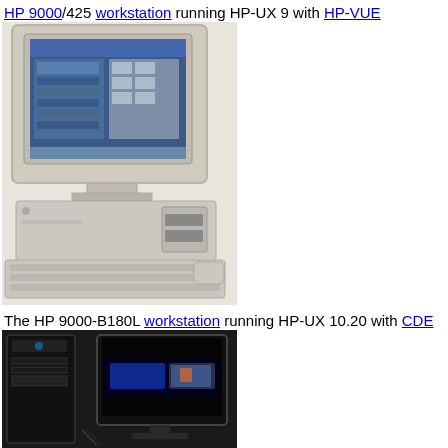HP 9000/425 workstation running HP-UX 9 with HP-VUE
[Figure (photo): HP 9000/425 workstation with monitor displaying HP-VUE desktop, CPU unit, and keyboard on a white surface]
The HP 9000-B180L workstation running HP-UX 10.20 with CDE
[Figure (photo): HP 9000-B180L workstation tower with flat panel monitor displaying CDE desktop]